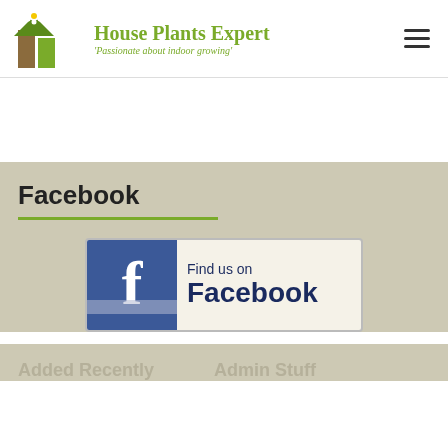House Plants Expert - 'Passionate about indoor growing'
Facebook
[Figure (logo): Find us on Facebook banner with Facebook 'f' logo icon on blue background and text 'Find us on Facebook' on cream background]
Added Recently
Admin Stuff